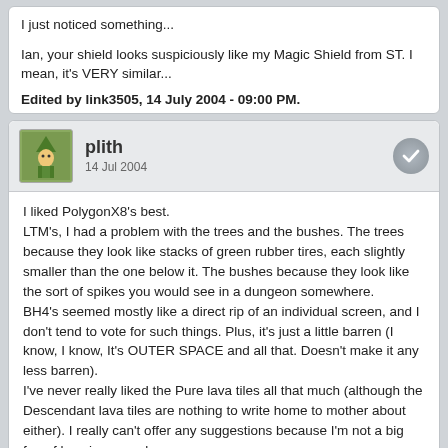I just noticed something...

Ian, your shield looks suspiciously like my Magic Shield from ST. I mean, it's VERY similar...

Edited by link3505, 14 July 2004 - 09:00 PM.
[Figure (illustration): Avatar image of user 'plith' showing a small game character sprite]
plith
14 Jul 2004
I liked PolygonX8's best.
LTM's, I had a problem with the trees and the bushes. The trees because they look like stacks of green rubber tires, each slightly smaller than the one below it. The bushes because they look like the sort of spikes you would see in a dungeon somewhere.
BH4's seemed mostly like a direct rip of an individual screen, and I don't tend to vote for such things. Plus, it's just a little barren (I know, I know, It's OUTER SPACE and all that. Doesn't make it any less barren).
I've never really liked the Pure lava tiles all that much (although the Descendant lava tiles are nothing to write home to mother about either). I really can't offer any suggestions because I'm not a big fan of lava in general.

Not counting PX8's Norfair-ish area. Maybe that's how I'd do it.